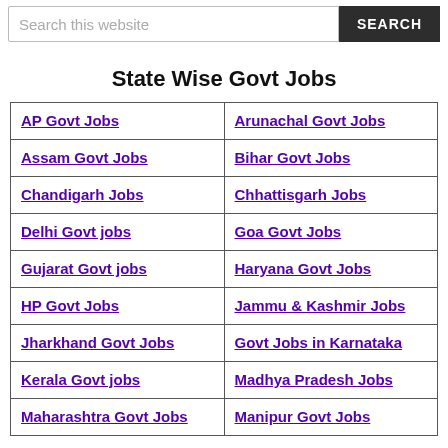Search this website | SEARCH
State Wise Govt Jobs
| Column1 | Column2 |
| --- | --- |
| AP Govt Jobs | Arunachal Govt Jobs |
| Assam Govt Jobs | Bihar Govt Jobs |
| Chandigarh Jobs | Chhattisgarh Jobs |
| Delhi Govt jobs | Goa Govt Jobs |
| Gujarat Govt jobs | Haryana Govt Jobs |
| HP Govt Jobs | Jammu & Kashmir Jobs |
| Jharkhand Govt Jobs | Govt Jobs in Karnataka |
| Kerala Govt jobs | Madhya Pradesh Jobs |
| Maharashtra Govt Jobs | Manipur Govt Jobs |